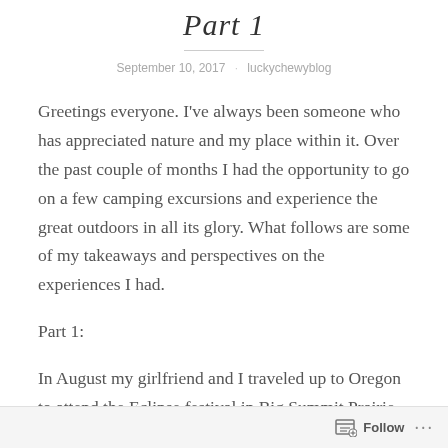Part 1
September 10, 2017 · luckychewyblog
Greetings everyone. I've always been someone who has appreciated nature and my place within it. Over the past couple of months I had the opportunity to go on a few camping excursions and experience the great outdoors in all its glory. What follows are some of my takeaways and perspectives on the experiences I had.
Part 1:
In August my girlfriend and I traveled up to Oregon to attend the Eclipse festival in Big Summit Prairie where we then went to Burning Man in Northern Nevada the week
Follow ...